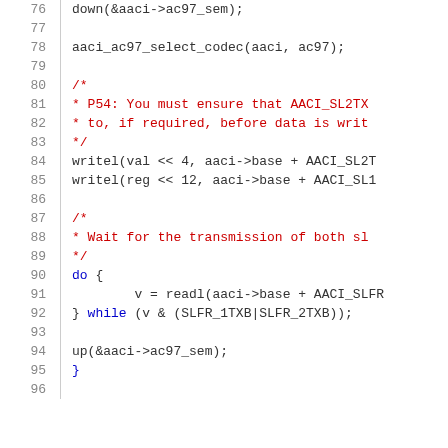[Figure (screenshot): Source code listing (C language) showing lines 76-96 of a kernel/audio driver function. Lines include function calls, comments, writel calls, a do-while loop, and closing brace.]